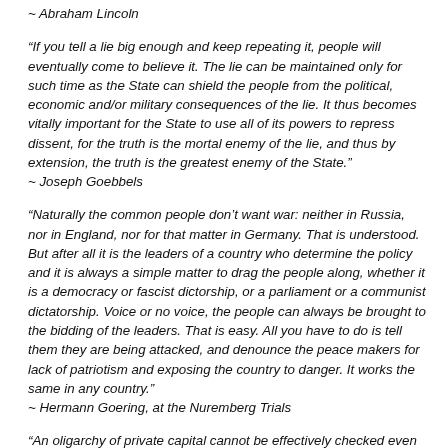~ Abraham Lincoln
“If you tell a lie big enough and keep repeating it, people will eventually come to believe it. The lie can be maintained only for such time as the State can shield the people from the political, economic and/or military consequences of the lie. It thus becomes vitally important for the State to use all of its powers to repress dissent, for the truth is the mortal enemy of the lie, and thus by extension, the truth is the greatest enemy of the State.”
~ Joseph Goebbels
“Naturally the common people don’t want war: neither in Russia, nor in England, nor for that matter in Germany. That is understood. But after all it is the leaders of a country who determine the policy and it is always a simple matter to drag the people along, whether it is a democracy or fascist dictorship, or a parliament or a communist dictatorship. Voice or no voice, the people can always be brought to the bidding of the leaders. That is easy. All you have to do is tell them they are being attacked, and denounce the peace makers for lack of patriotism and exposing the country to danger. It works the same in any country.”
~ Hermann Goering, at the Nuremberg Trials
“An oligarchy of private capital cannot be effectively checked even by a democratically organized political society because under existing conditions, private capitalists inevitably...